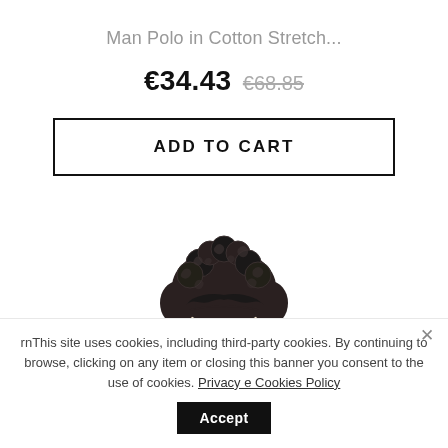Man Polo in Cotton Stretch...
€34.43  €68.85
ADD TO CART
[Figure (illustration): Pen-and-ink style illustration of a man's head and shoulders with curly hair, wearing a blue polo shirt. Sketch/fashion illustration style.]
rnThis site uses cookies, including third-party cookies. By continuing to browse, clicking on any item or closing this banner you consent to the use of cookies. Privacy e Cookies Policy  Accept